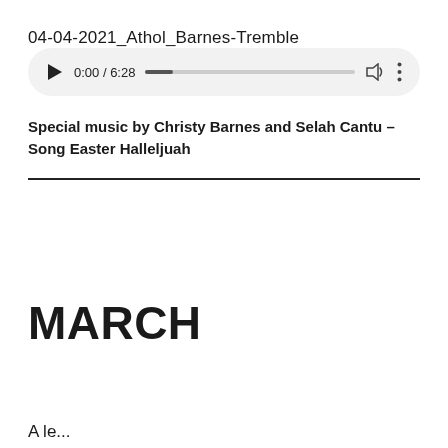04-04-2021_Athol_Barnes-Tremble
[Figure (other): Audio player widget showing time 0:00 / 6:28 with play button, progress bar, volume icon, and more options icon]
Special music by Christy Barnes and Selah Cantu – Song Easter Halleljuah
MARCH
A le...